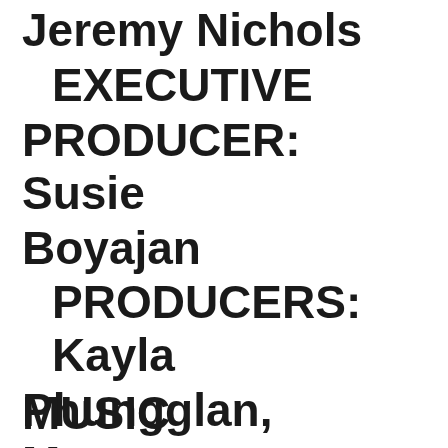Jeremy Nichols EXECUTIVE PRODUCER: Susie Boyajan PRODUCERS: Kayla Phungglan, Megan Hernandez MUSIC
PRODUCERS: Kayla Phungglan, Megan Hernandez
MUSIC